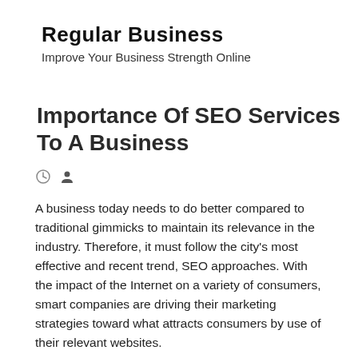Regular Business
Improve Your Business Strength Online
Importance Of SEO Services To A Business
[Figure (other): Meta icons: clock icon and person/author icon]
A business today needs to do better compared to traditional gimmicks to maintain its relevance in the industry. Therefore, it must follow the city's most effective and recent trend, SEO approaches. With the impact of the Internet on a variety of consumers, smart companies are driving their marketing strategies toward what attracts consumers by use of their relevant websites.
Provision of services
A growing number of search engine optimization firms are emerging in the marketplace by providing SEO services to desperate businesses of all kinds. Almost every business today needs an effective website that contains all the relevant and latest elements of Internet